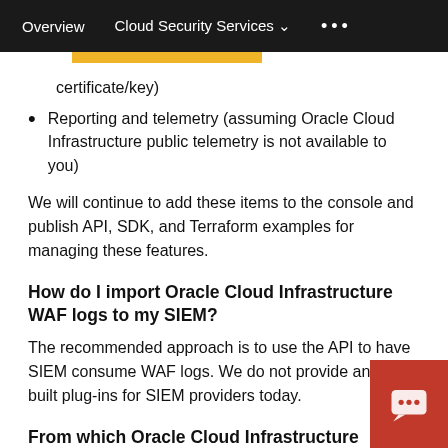Overview   Cloud Security Services ∨   •••
certificate/key)
Reporting and telemetry (assuming Oracle Cloud Infrastructure public telemetry is not available to you)
We will continue to add these items to the console and publish API, SDK, and Terraform examples for managing these features.
How do I import Oracle Cloud Infrastructure WAF logs to my SIEM?
The recommended approach is to use the API to have SIEM consume WAF logs. We do not provide any pre-built plug-ins for SIEM providers today.
From which Oracle Cloud Infrastructure regions configure the WAF?
Oracle Cloud Infrastructure WAF is a global service and can be configured from any region. It is